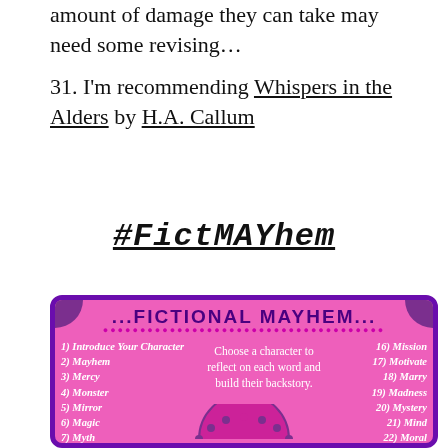amount of damage they can take may need some revising…
31. I'm recommending Whispers in the Alders by H.A. Callum
#FictMAYhem
[Figure (infographic): Fictional Mayhem infographic on a pink background with purple border. Title reads FICTIONAL MAYHEM with pink and magenta dots. Left column lists: 1) Introduce Your Character, 2) Mayhem, 3) Mercy, 4) Monster, 5) Mirror, 6) Magic, 7) Myth. Center text: Choose a character to reflect on each word and build their backstory. Right column lists: 16) Mission, 17) Motivate, 18) Marry, 19) Madness, 20) Mystery, 21) Mind, 22) Moral. A decorative semicircle with dots appears at the bottom center.]